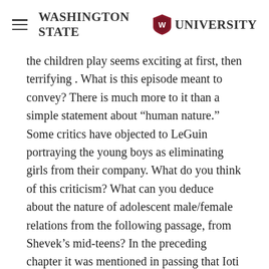Washington State University
the children play seems exciting at first, then terrifying . What is this episode meant to convey? There is much more to it than a simple statement about “human nature.” Some critics have objected to LeGuin portraying the young boys as eliminating girls from their company. What do you think of this criticism? What can you deduce about the nature of adolescent male/female relations from the following passage, from Shevek’s mid-teens? In the preceding chapter it was mentioned in passing that Ioti women shave off their